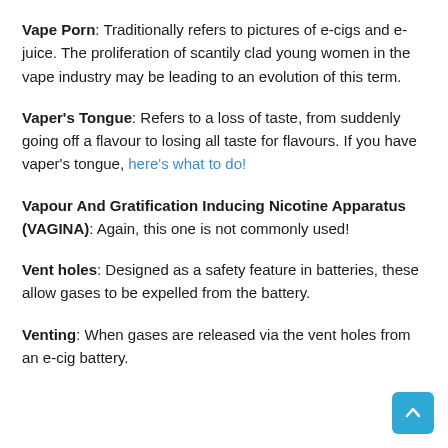Vape Porn: Traditionally refers to pictures of e-cigs and e-juice. The proliferation of scantily clad young women in the vape industry may be leading to an evolution of this term.
Vaper's Tongue: Refers to a loss of taste, from suddenly going off a flavour to losing all taste for flavours. If you have vaper's tongue, here's what to do!
Vapour And Gratification Inducing Nicotine Apparatus (VAGINA): Again, this one is not commonly used!
Vent holes: Designed as a safety feature in batteries, these allow gases to be expelled from the battery.
Venting: When gases are released via the vent holes from an e-cig battery.